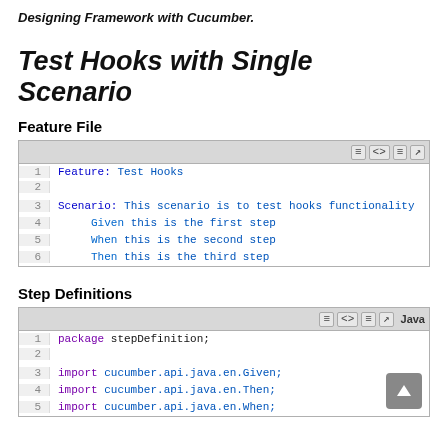Designing Framework with Cucumber.
Test Hooks with Single Scenario
Feature File
[Figure (screenshot): Code block showing a Cucumber feature file with Feature: Test Hooks and a Scenario with three steps (Given, When, Then)]
Step Definitions
[Figure (screenshot): Code block showing Java step definitions file with package stepDefinition and imports for cucumber.api.java.en.Given, Then, When]